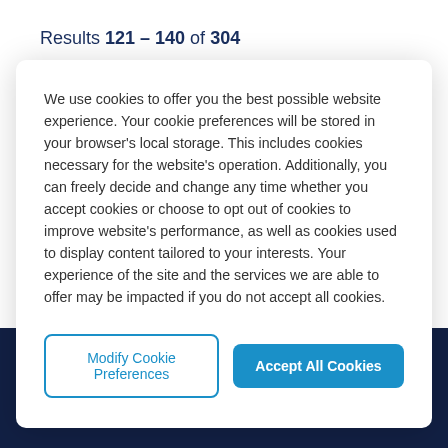Results 121 – 140 of 304
5  6  7  8  9
We use cookies to offer you the best possible website experience. Your cookie preferences will be stored in your browser's local storage. This includes cookies necessary for the website's operation. Additionally, you can freely decide and change any time whether you accept cookies or choose to opt out of cookies to improve website's performance, as well as cookies used to display content tailored to your interests. Your experience of the site and the services we are able to offer may be impacted if you do not accept all cookies.
Modify Cookie Preferences
Accept All Cookies